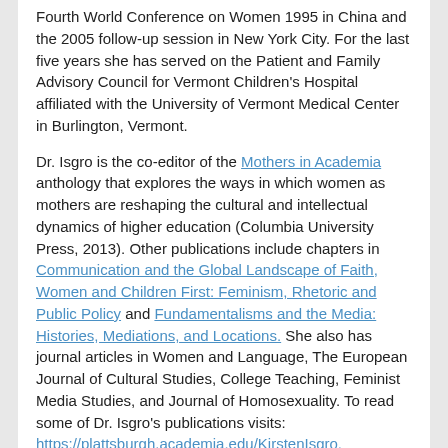Fourth World Conference on Women 1995 in China and the 2005 follow-up session in New York City. For the last five years she has served on the Patient and Family Advisory Council for Vermont Children's Hospital affiliated with the University of Vermont Medical Center in Burlington, Vermont.
Dr. Isgro is the co-editor of the Mothers in Academia anthology that explores the ways in which women as mothers are reshaping the cultural and intellectual dynamics of higher education (Columbia University Press, 2013). Other publications include chapters in Communication and the Global Landscape of Faith, Women and Children First: Feminism, Rhetoric and Public Policy and Fundamentalisms and the Media: Histories, Mediations, and Locations. She also has journal articles in Women and Language, The European Journal of Cultural Studies, College Teaching, Feminist Media Studies, and Journal of Homosexuality. To read some of Dr. Isgro's publications visits: https://plattsburgh.academia.edu/KirstenIsgro.
SPEAKERS
2020 Presenters
2020 Keynote and Invited Speakers